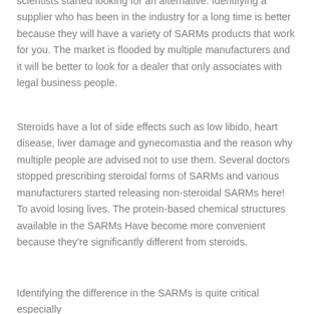scientists started looking for an alternative. Identifying a supplier who has been in the industry for a long time is better because they will have a variety of SARMs products that work for you. The market is flooded by multiple manufacturers and it will be better to look for a dealer that only associates with legal business people.
Steroids have a lot of side effects such as low libido, heart disease, liver damage and gynecomastia and the reason why multiple people are advised not to use them. Several doctors stopped prescribing steroidal forms of SARMs and various manufacturers started releasing non-steroidal SARMs here! To avoid losing lives. The protein-based chemical structures available in the SARMs Have become more convenient because they're significantly different from steroids.
Identifying the difference in the SARMs is quite critical especially since each will have different methods of action that bear a similar...